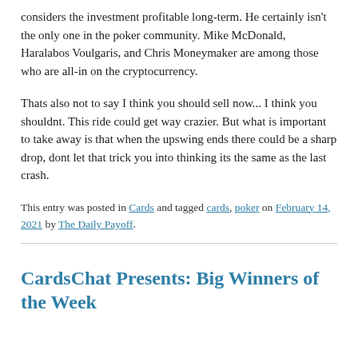considers the investment profitable long-term. He certainly isn't the only one in the poker community. Mike McDonald, Haralabos Voulgaris, and Chris Moneymaker are among those who are all-in on the cryptocurrency.
Thats also not to say I think you should sell now... I think you shouldnt. This ride could get way crazier. But what is important to take away is that when the upswing ends there could be a sharp drop, dont let that trick you into thinking its the same as the last crash.
This entry was posted in Cards and tagged cards, poker on February 14, 2021 by The Daily Payoff.
CardsChat Presents: Big Winners of the Week